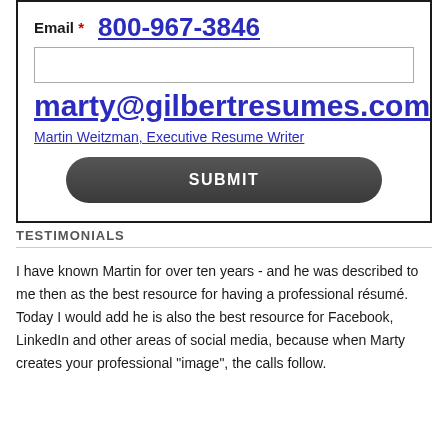Email * 800-967-3846
marty@gilbertresumes.com
Martin Weitzman, Executive Resume Writer
SUBMIT
TESTIMONIALS
I have known Martin for over ten years - and he was described to me then as the best resource for having a professional résumé. Today I would add he is also the best resource for Facebook, LinkedIn and other areas of social media, because when Marty creates your professional "image", the calls follow.